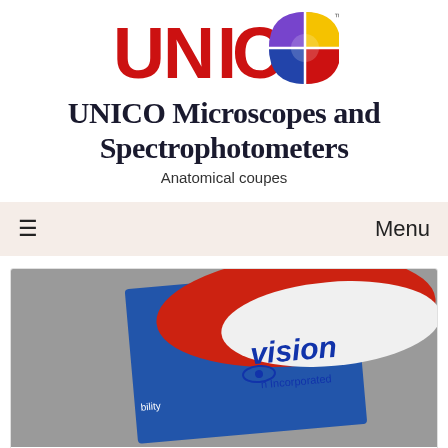[Figure (logo): UNICO logo with bold red letters U, N, I, C, O and a circular icon with blue, purple, yellow, and red segments on the right]
UNICO Microscopes and Spectrophotometers
Anatomical coupes
≡  Menu
[Figure (photo): Product photo showing a blue, red and white microscope slide box with 'Vision Incorporated' branding visible]